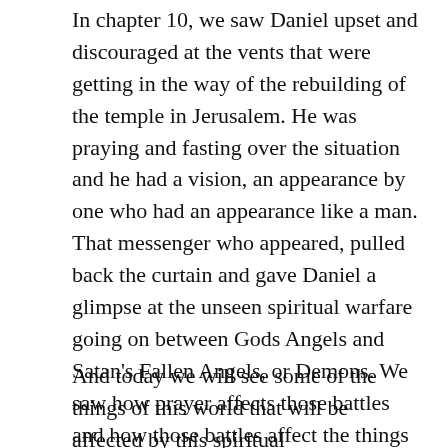In chapter 10, we saw Daniel upset and discouraged at the vents that were getting in the way of the rebuilding of the temple in Jerusalem. He was praying and fasting over the situation and he had a vision, an appearance by one who had an appearance like a man. That messenger who appeared, pulled back the curtain and gave Daniel a glimpse at the unseen spiritual warfare going on between Gods Angels and Satan's Fallen Angels, or Demons. We saw how prayer affects those battles and how those battles affect the things of this world.
And today we will see some of the things of this world that will be affected by this spiritual